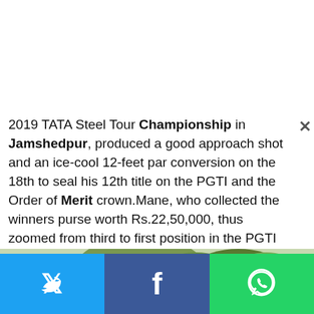2019 TATA Steel Tour Championship in Jamshedpur, produced a good approach shot and an ice-cool 12-feet par conversion on the 18th to seal his 12th title on the PGTI and the Order of Merit crown.Mane, who collected the winners purse worth Rs.22,50,000, thus zoomed from third to first position in the PGTI Order of Merit as he leapfrogged Karandeep Kochhar and Chikkarangappa in the Merit list based on seasons earnings.Udayan won an impressive four titles during the 2020-21 season and posted four other top-10s as well.
[Figure (photo): Outdoor photo showing trees against sky, partially visible at bottom of article]